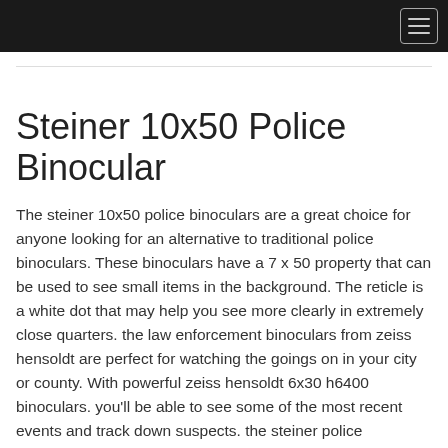Steiner 10x50 Police Binocular
The steiner 10x50 police binoculars are a great choice for anyone looking for an alternative to traditional police binoculars. These binoculars have a 7 x 50 property that can be used to see small items in the background. The reticle is a white dot that may help you see more clearly in extremely close quarters. the law enforcement binoculars from zeiss hensoldt are perfect for watching the goings on in your city or county. With powerful zeiss hensoldt 6x30 h6400 binoculars. you'll be able to see some of the most recent events and track down suspects. the steiner police binoculars 10x50 are a great choice for those looking for quality night vision binoculars. They have a high-quality look and high